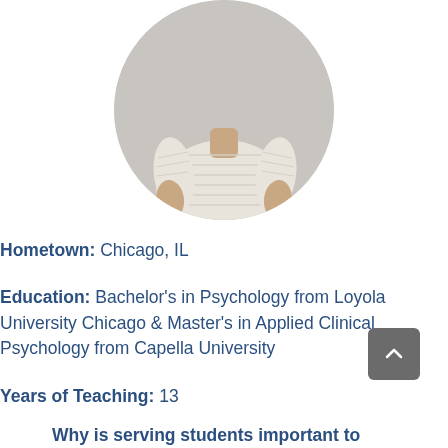[Figure (photo): Circular profile photo of a person wearing a cream/beige striped short-sleeve top, cropped to show torso and lower face only, set against a light gray background.]
Hometown: Chicago, IL
Education: Bachelor's in Psychology from Loyola University Chicago & Master's in Applied Clinical Psychology from Capella University
Years of Teaching: 13
Why is serving students important to